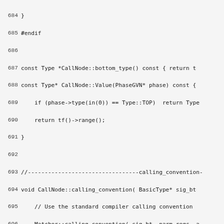Source code listing lines 684-713, C++ code for CallNode class methods including bottom_type, calling_convention, and match.